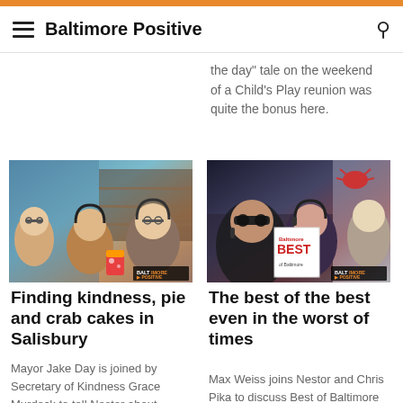Baltimore Positive
the day" tale on the weekend of a Child's Play reunion was quite the bonus here.
[Figure (photo): Two or three people in a podcast studio setting, one holding a colorful cup, with Baltimore Positive logo badge]
Finding kindness, pie and crab cakes in Salisbury
Mayor Jake Day is joined by Secretary of Kindness Grace Murdock to tell Nestor about Salisbury pride
[Figure (photo): People holding a Baltimore Magazine Best of Baltimore issue, with crab decorations, Baltimore Positive logo badge]
The best of the best even in the worst of times
Max Weiss joins Nestor and Chris Pika to discuss Best of Baltimore and the Baltimore Magazine summer